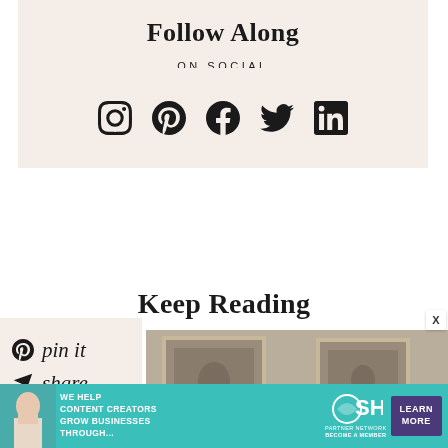Follow Along
ON SOCIAL
[Figure (illustration): Five social media icons in a row: Instagram, Pinterest, Facebook, Twitter, LinkedIn]
Keep Reading
[Figure (infographic): Social sharing sidebar with Pinterest pin it, share, and tweet options in script font on a peach background]
[Figure (photo): Photo showing framed art prints on a wall in a neutral-toned room]
[Figure (infographic): Advertisement banner: SHE Media Partner Network - We Help Content Creators Grow Businesses Through... Learn More button]